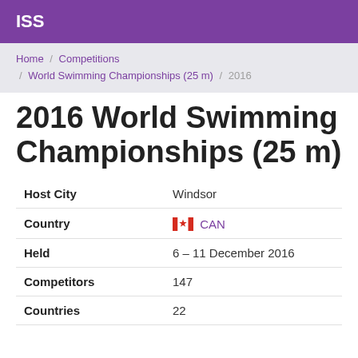ISS
Home / Competitions / World Swimming Championships (25 m) / 2016
2016 World Swimming Championships (25 m)
| Host City | Windsor |
| Country | CAN |
| Held | 6 – 11 December 2016 |
| Competitors | 147 |
| Countries | 22 |